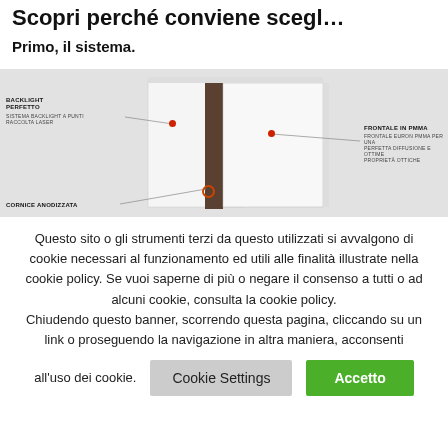Scopri perché conviene scegl…
Primo, il sistema.
[Figure (photo): Product diagram of a backlit panel system with annotated components: BACKLIGHT PERFETTO (Sistema backlight a punti raccolta laser), FRONTALE IN PMMA (Frontale Euron PMMA per una perfetta diffusione e ottime proprietà ottiche), CORNICE ANODIZZATA. Shows layered panel construction with anodized frame and PMMA front panel.]
Questo sito o gli strumenti terzi da questo utilizzati si avvalgono di cookie necessari al funzionamento ed utili alle finalità illustrate nella cookie policy. Se vuoi saperne di più o negare il consenso a tutti o ad alcuni cookie, consulta la cookie policy. Chiudendo questo banner, scorrendo questa pagina, cliccando su un link o proseguendo la navigazione in altra maniera, acconsenti all'uso dei cookie.
Cookie Settings
Accetto